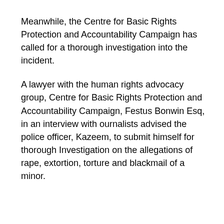Meanwhile, the Centre for Basic Rights Protection and Accountability Campaign has called for a thorough investigation into the incident.
A lawyer with the human rights advocacy group, Centre for Basic Rights Protection and Accountability Campaign, Festus Bonwin Esq, in an interview with ournalists advised the police officer, Kazeem, to submit himself for thorough Investigation on the allegations of rape, extortion, torture and blackmail of a minor.